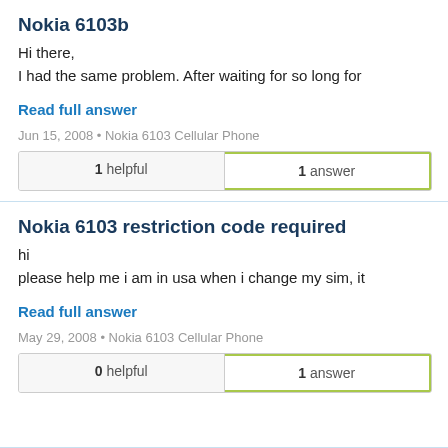Nokia 6103b
Hi there,
I had the same problem. After waiting for so long for
Read full answer
Jun 15, 2008 • Nokia 6103 Cellular Phone
| 1 helpful | 1 answer |
| --- | --- |
Nokia 6103 restriction code required
hi
please help me i am in usa when i change my sim, it
Read full answer
May 29, 2008 • Nokia 6103 Cellular Phone
| 0 helpful | 1 answer |
| --- | --- |